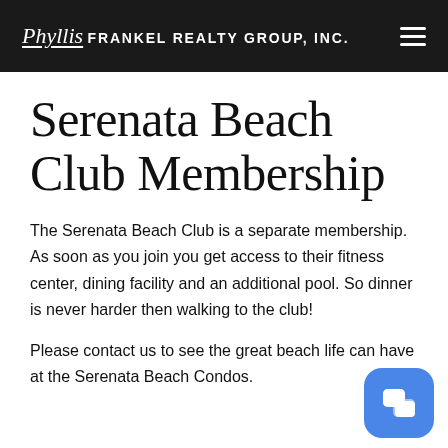Phyllis Frankel Realty Group, Inc.
Serenata Beach Club Membership
The Serenata Beach Club is a separate membership. As soon as you join you get access to their fitness center, dining facility and an additional pool. So dinner is never harder then walking to the club!
Please contact us to see the great beach life can have at the Serenata Beach Condos.